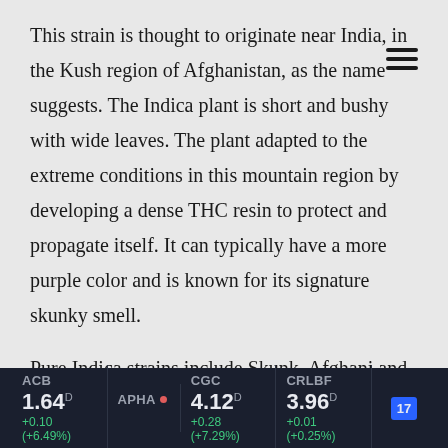This strain is thought to originate near India, in the Kush region of Afghanistan, as the name suggests. The Indica plant is short and bushy with wide leaves. The plant adapted to the extreme conditions in this mountain region by developing a dense THC resin to protect and propagate itself. It can typically have a more purple color and is known for its signature skunky smell.
Pure Indica strains include Skunk, Afghani and Hindu Kush. The high from Indica is a body dominant high. Indica consumption increases the feel-good dopamine in the brain. The therapeutic properties of this strain
[Figure (other): Stock ticker bar showing ACB 1.64 +0.10 (+6.49%), APHA (no price shown), CGC 4.12 +0.28 (+7.29%), CRLBF 3.96 +0.01 (+0.25%), and TradingView logo]